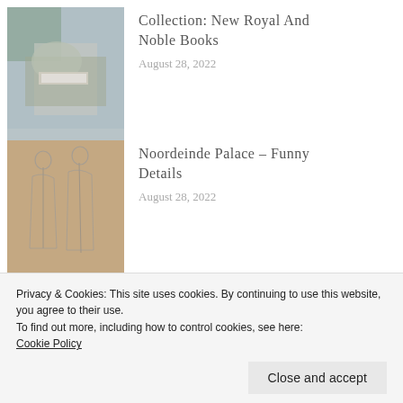[Figure (photo): Person with gloves holding a book, outdoor garden setting]
Collection: New Royal And Noble Books
August 28, 2022
[Figure (photo): Sketch drawing of two robed figures, beige/tan background]
Noordeinde Palace - Funny Details
August 28, 2022
[Figure (photo): Floral table arrangement with candles in dark setting]
Current And Future Exhibitions
Privacy & Cookies: This site uses cookies. By continuing to use this website, you agree to their use.
To find out more, including how to control cookies, see here:
Cookie Policy
Close and accept